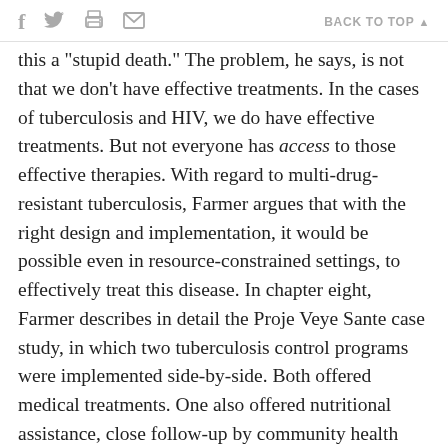f  [twitter]  [print]  [mail]    BACK TO TOP ▲
this a "stupid death." The problem, he says, is not that we don't have effective treatments. In the cases of tuberculosis and HIV, we do have effective treatments. But not everyone has access to those effective therapies. With regard to multi-drug-resistant tuberculosis, Farmer argues that with the right design and implementation, it would be possible even in resource-constrained settings, to effectively treat this disease. In chapter eight, Farmer describes in detail the Proje Veye Sante case study, in which two tuberculosis control programs were implemented side-by-side. Both offered medical treatments. One also offered nutritional assistance, close follow-up by community health workers including home visits, and payment of travel expenses for clinic appointments. The latter group had a cure rate of 100 percent, compared to the other, unsupported group's cure rate